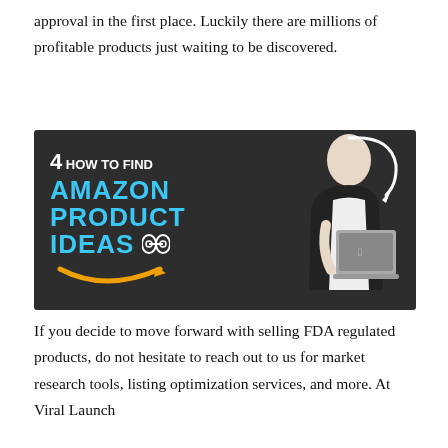approval in the first place. Luckily there are millions of profitable products just waiting to be discovered.
[Figure (infographic): Infographic thumbnail with dark background showing '4 HOW TO FIND AMAZON PRODUCT IDEAS' in blue and white text with binoculars icon, Amazon smile arrow, and a man holding a laptop on the right side.]
If you decide to move forward with selling FDA regulated products, do not hesitate to reach out to us for market research tools, listing optimization services, and more. At Viral Launch